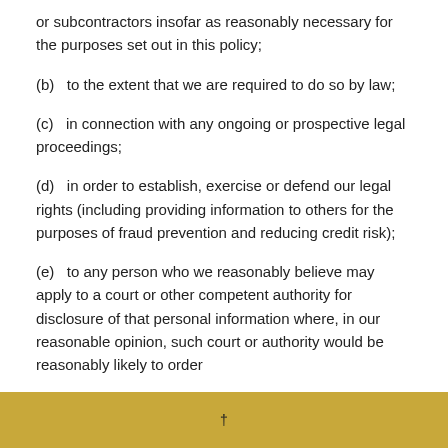or subcontractors insofar as reasonably necessary for the purposes set out in this policy;
(b)   to the extent that we are required to do so by law;
(c)   in connection with any ongoing or prospective legal proceedings;
(d)   in order to establish, exercise or defend our legal rights (including providing information to others for the purposes of fraud prevention and reducing credit risk);
(e)   to any person who we reasonably believe may apply to a court or other competent authority for disclosure of that personal information where, in our reasonable opinion, such court or authority would be reasonably likely to order
†